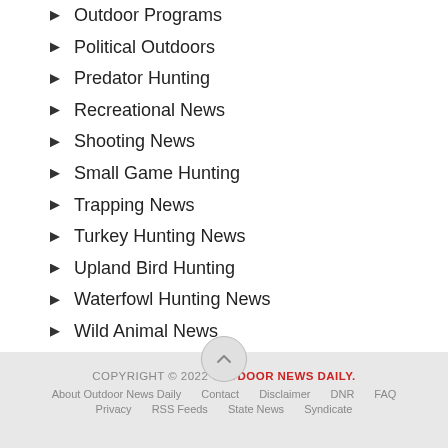Outdoor Programs
Political Outdoors
Predator Hunting
Recreational News
Shooting News
Small Game Hunting
Trapping News
Turkey Hunting News
Upland Bird Hunting
Waterfowl Hunting News
Wild Animal News
Wolf Hunting
COPYRIGHT © 2022 OUTDOOR NEWS DAILY. About Outdoor News Daily  Contact  Disclaimer  DNR  FAQ  Privacy  RSS Feeds  State News  Syndicate